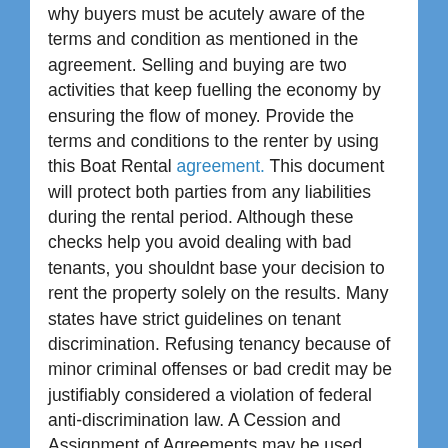why buyers must be acutely aware of the terms and condition as mentioned in the agreement. Selling and buying are two activities that keep fuelling the economy by ensuring the flow of money. Provide the terms and conditions to the renter by using this Boat Rental agreement. This document will protect both parties from any liabilities during the rental period. Although these checks help you avoid dealing with bad tenants, you shouldnt base your decision to rent the property solely on the results. Many states have strict guidelines on tenant discrimination. Refusing tenancy because of minor criminal offenses or bad credit may be justifiably considered a violation of federal anti-discrimination law. A Cession and Assignment of Agreements may be used where the rights and obligations under an agreement need to be ceded and assigned to another person. By signing a Cession & Assignment, the Cedent agrees to transfer to the Cessionary the right to claim money and any other benefits owed to the Cedent in terms of the Agreement/s. Why do I need a Cession of Agreements? The reasons for ceding and assigning an agreement are varied, and could include restructuring of an organisation,